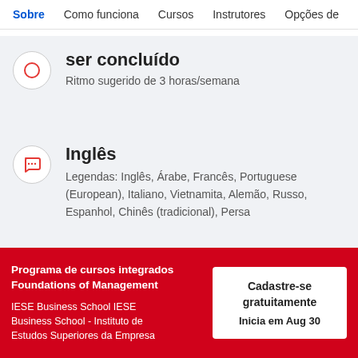Sobre | Como funciona | Cursos | Instrutores | Opções de
ser concluído
Ritmo sugerido de 3 horas/semana
Inglês
Legendas: Inglês, Árabe, Francês, Portuguese (European), Italiano, Vietnamita, Alemão, Russo, Espanhol, Chinês (tradicional), Persa
Programa de cursos integrados Foundations of Management
IESE Business School IESE Business School - Instituto de Estudos Superiores da Empresa
Cadastre-se gratuitamente
Inicia em Aug 30